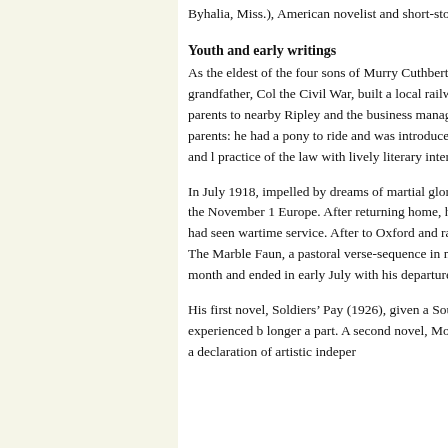Byhalia, Miss.), American novelist and short-story writer who
Youth and early writings
As the eldest of the four sons of Murry Cuthbert and Maud Bu family background and especially of his great-grandfather, Col the Civil War, built a local railway, and published a popular ro Faulkner soon moved with his parents to nearby Ripley and the business manager of the University of Mississippi. In Oxford h middle-class parents: he had a pony to ride and was introduced devoted himself to “undirected reading,” first in isolation and l practice of the law with lively literary interests and was a cons
In July 1918, impelled by dreams of martial glory and by despa cadet pilot under training in Canada, although the November 1 Europe. After returning home, he enrolled for a few university dramatizing role as a poet who had seen wartime service. After to Oxford and ran the university post office there with notorio him to publish The Marble Faun, a pastoral verse-sequence in n sustained attempt to write fiction occurred during a six-month and ended in early July with his departure for a five-month tou
His first novel, Soldiers’ Pay (1926), given a Southern though and strongly evocative of the sense of alienation experienced b longer a part. A second novel, Mosquitoes (1927), launched a s and can perhaps best be read as a declaration of artistic indeper